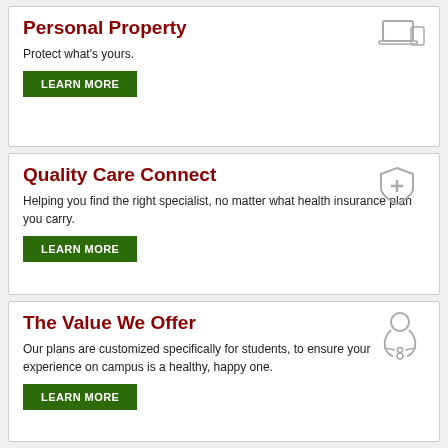Personal Property
Protect what's yours.
LEARN MORE
Quality Care Connect
Helping you find the right specialist, no matter what health insurance plan you carry.
LEARN MORE
The Value We Offer
Our plans are customized specifically for students, to ensure your experience on campus is a healthy, happy one.
LEARN MORE